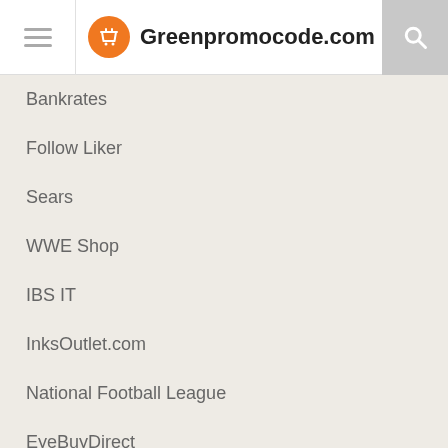Greenpromocode.com
Bankrates
Follow Liker
Sears
WWE Shop
IBS IT
InksOutlet.com
National Football League
EyeBuyDirect